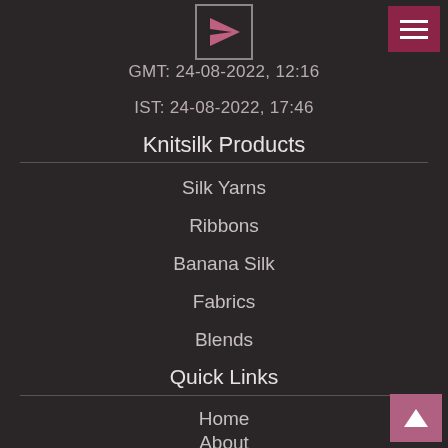[Figure (logo): Paper airplane / send icon in a bordered box, top center]
[Figure (other): Hamburger menu button (three white lines) on dark rose background, top right]
GMT: 24-08-2022, 12:16
IST: 24-08-2022, 17:46
Knitsilk Products
Silk Yarns
Ribbons
Banana Silk
Fabrics
Blends
Quick Links
Home
About